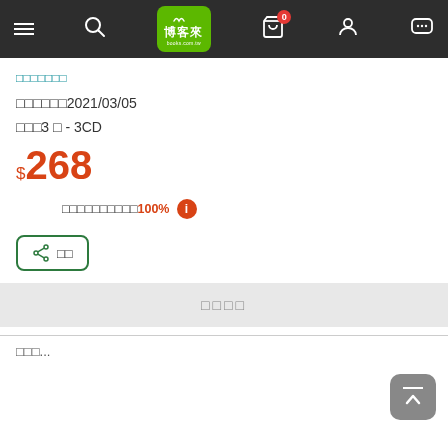博客來 navigation bar with menu, search, logo, cart (0), user, chat icons
□□□□□□□
□□□□□□2021/03/05
□□□3 □ - 3CD
$268
□□□□□□□□□□100%
分享 □
□□□□
□□□...